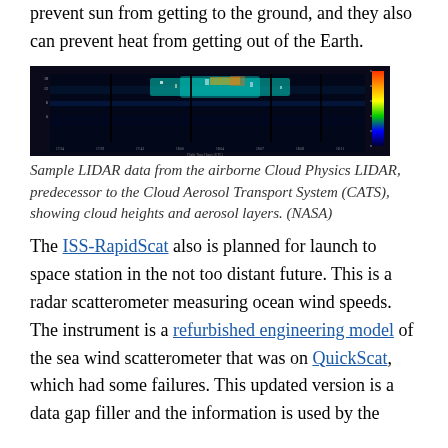prevent sun from getting to the ground, and they also can prevent heat from getting out of the Earth.
[Figure (other): Sample LIDAR data from the airborne Cloud Physics LIDAR showing cloud heights and aerosol layers — a false-color spectrogram-style image with dark blue background and colored bands indicating cloud and aerosol presence at various altitudes over time.]
Sample LIDAR data from the airborne Cloud Physics LIDAR, predecessor to the Cloud Aerosol Transport System (CATS), showing cloud heights and aerosol layers. (NASA)
The ISS-RapidScat also is planned for launch to space station in the not too distant future. This is a radar scatterometer measuring ocean wind speeds. The instrument is a refurbished engineering model of the sea wind scatterometer that was on QuickScat, which had some failures. This updated version is a data gap filler and the information is used by the